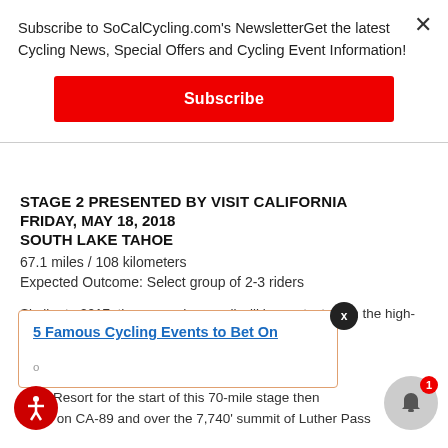Subscribe to SoCalCycling.com's NewsletterGet the latest Cycling News, Special Offers and Cycling Event Information!
Subscribe
STAGE 2 PRESENTED BY VISIT CALIFORNIA
FRIDAY, MAY 18, 2018
SOUTH LAKE TAHOE
67.1 miles / 108 kilometers
Expected Outcome: Select group of 2-3 riders
Similar to 2017, the women's overall will be contested on the high-altitude Queen Stage in South Lake Tahoe, which ... Women's ... eavenly ... ntain Resort for the start of this 70-mile stage then ... south on CA-89 and over the 7,740' summit of Luther Pass
5 Famous Cycling Events to Bet On